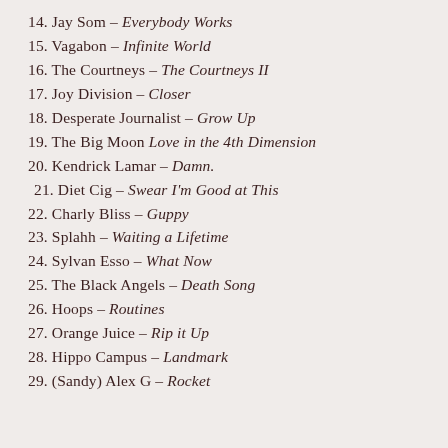14. Jay Som – Everybody Works
15. Vagabon – Infinite World
16. The Courtneys – The Courtneys II
17. Joy Division – Closer
18. Desperate Journalist – Grow Up
19. The Big Moon Love in the 4th Dimension
20. Kendrick Lamar – Damn.
21. Diet Cig – Swear I'm Good at This
22. Charly Bliss – Guppy
23. Splahh – Waiting a Lifetime
24. Sylvan Esso – What Now
25. The Black Angels – Death Song
26. Hoops – Routines
27. Orange Juice – Rip it Up
28. Hippo Campus – Landmark
29. (Sandy) Alex G – Rocket